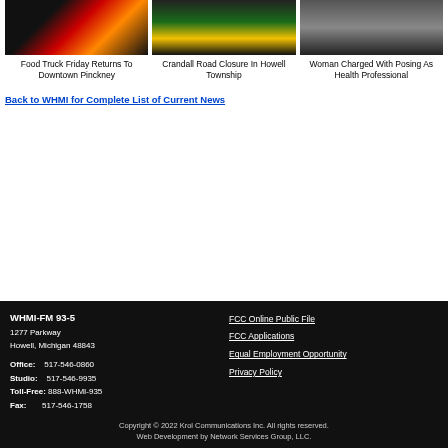[Figure (photo): Food truck image]
[Figure (photo): Livingston County Road Commission sign since 1919]
[Figure (photo): Woman headshot photo]
Food Truck Friday Returns To Downtown Pinckney
Crandall Road Closure In Howell Township
Woman Charged With Posing As Health Professional
Back to WHMI for Complete List of Current News
WHMI-FM 93-5
1277 Parkway
Howell, Michigan 48843

Office: 517-546-0860
Studio: 517-546-9935
Toll-Free: 888-WHMI-935
Fax: 517-546-1758

FCC Online Public File
FCC Applications
Equal Employment Opportunity
Privacy Policy

Copyright © 2022 Krol Communications Inc. All rights reserved.
Web Development by Network Services Group, LLC.